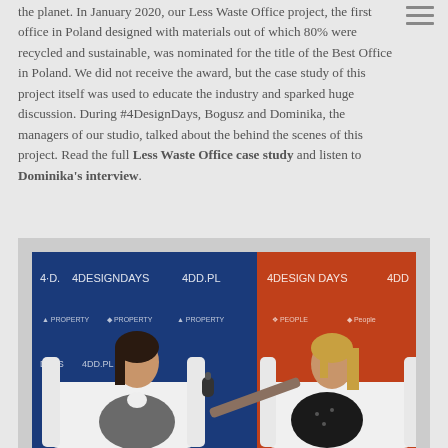the planet. In January 2020, our Less Waste Office project, the first office in Poland designed with materials out of which 80% were recycled and sustainable, was nominated for the title of the Best Office in Poland. We did not receive the award, but the case study of this project itself was used to educate the industry and sparked huge discussion. During #4DesignDays, Bogusz and Dominika, the managers of our studio, talked about the behind the scenes of this project. Read the full Less Waste Office case study and listen to Dominika's interview.
[Figure (photo): Two women sitting in white chairs against a backdrop with 4DesignDays and 4DD.PL branding. One woman is being interviewed, holding a microphone toward the other.]